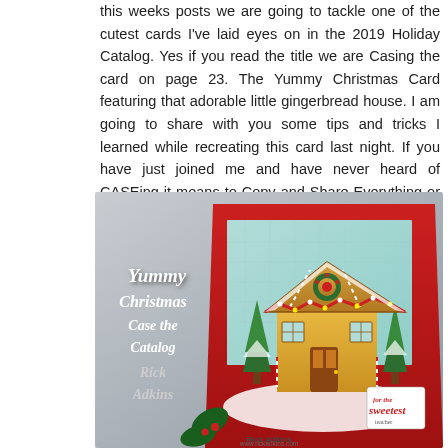this weeks posts we are going to tackle one of the cutest cards I've laid eyes on in the 2019 Holiday Catalog. Yes if you read the title we are Casing the card on page 23. The Yummy Christmas Card featuring that adorable little gingerbread house. I am going to share with you some tips and tricks I learned while recreating this card last night. If you have just joined me and have never heard of CASEing it means to Copy and Share Everything or Copy and Selectively Edit. This is a great technique to know, and it helps you improve your card making skills plus it helps build your crafting wheel house. Here's a look at my version of today's card.
[Figure (photo): Photo of a handmade Christmas card featuring a colorful gingerbread house with snow-covered trees, a red card base, and light blue patterned background. Text overlay on the left reads 'Yummy Christmas Case the Catalog Rick Adkins' in white italic font. Watermark at bottom shows 'Rick Adkins' and website URL.]